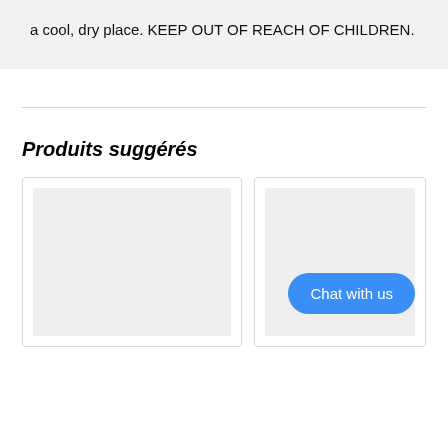a cool, dry place. KEEP OUT OF REACH OF CHILDREN.
Produits suggérés
[Figure (other): Two product card placeholders with grey image area; right card includes a blue 'Chat with us' button]
Chat with us